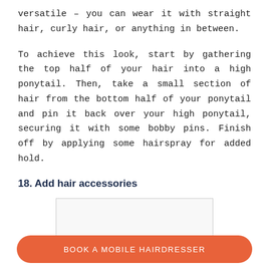versatile – you can wear it with straight hair, curly hair, or anything in between.
To achieve this look, start by gathering the top half of your hair into a high ponytail. Then, take a small section of hair from the bottom half of your ponytail and pin it back over your high ponytail, securing it with some bobby pins. Finish off by applying some hairspray for added hold.
18. Add hair accessories
[Figure (photo): Photo of hair accessories (partially visible, cropped at bottom of page)]
BOOK A MOBILE HAIRDRESSER